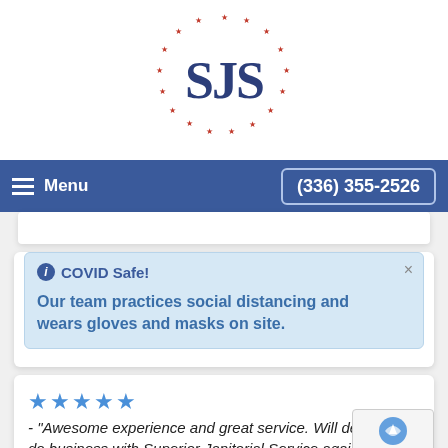[Figure (logo): SJS logo: letters SJS in dark blue inside a circle of red stars]
Menu   (336) 355-2526
COVID Safe! Our team practices social distancing and wears gloves and masks on site.
★★★★★ - "Awesome experience and great service. Will definitely do business with Superior Janitorial Service again!!"